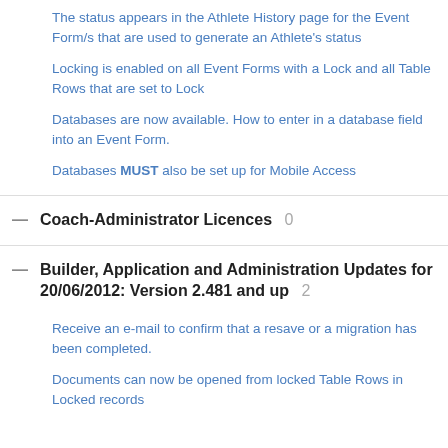The status appears in the Athlete History page for the Event Form/s that are used to generate an Athlete's status
Locking is enabled on all Event Forms with a Lock and all Table Rows that are set to Lock
Databases are now available. How to enter in a database field into an Event Form.
Databases MUST also be set up for Mobile Access
Coach-Administrator Licences 0
Builder, Application and Administration Updates for 20/06/2012: Version 2.481 and up 2
Receive an e-mail to confirm that a resave or a migration has been completed.
Documents can now be opened from locked Table Rows in Locked records